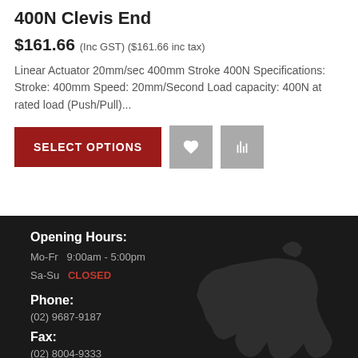400N Clevis End
$161.66 (Inc GST) ($161.66 inc tax)
Linear Actuator 20mm/sec 400mm Stroke 400N Specifications: Stroke: 400mm Speed: 20mm/Second Load capacity: 400N at rated load (Push/Pull)...
[Figure (other): SELECT OPTIONS button and two icon buttons (heart and bar chart) on product page]
[Figure (map): Silhouette map of Australia in dark gray on dark background]
Opening Hours:
Mo-Fr  9:00am - 5:00pm
Sa-Su  CLOSED
Phone:
(02) 9687-9187
Fax:
(02) 8004-9333